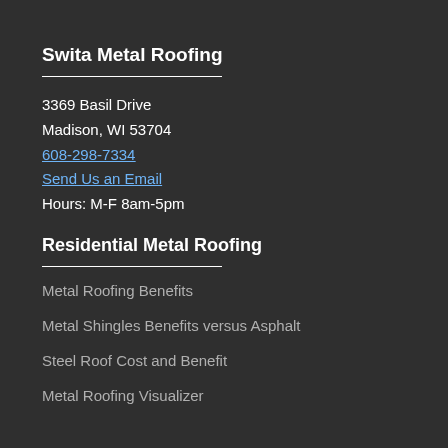Swita Metal Roofing
3369 Basil Drive
Madison, WI 53704
608-298-7334
Send Us an Email
Hours: M-F 8am-5pm
Residential Metal Roofing
Metal Roofing Benefits
Metal Shingles Benefits versus Asphalt
Steel Roof Cost and Benefit
Metal Roofing Visualizer